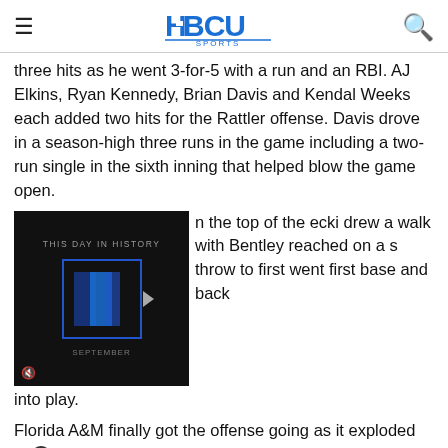HBCU Sports
three hits as he went 3-for-5 with a run and an RBI. AJ Elkins, Ryan Kennedy, Brian Davis and Kendal Weeks each added two hits for the Rattler offense. Davis drove in a season-high three runs in the game including a two-run single in the sixth inning that helped blow the game open.
[Figure (screenshot): Embedded video player showing 'THIS DAY IN HISTORY' with a blue play button icon and 'SEPTEMBER' text label, on a dark background with mute icon.]
n the top of the ecki drew a walk with Bentley reached on a s throw to first went first base and back into play.
Florida A&M finally got the offense going as it exploded wi five runs to take a 5-1 lead in the bottom of the sixth inning.